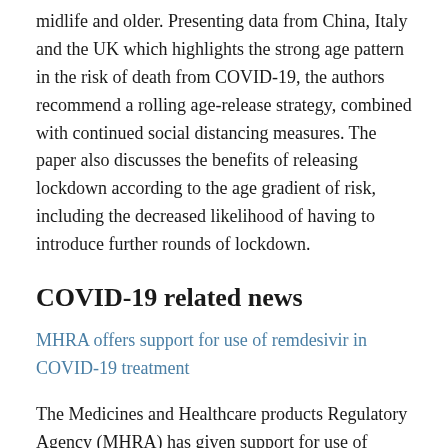midlife and older. Presenting data from China, Italy and the UK which highlights the strong age pattern in the risk of death from COVID-19, the authors recommend a rolling age-release strategy, combined with continued social distancing measures. The paper also discusses the benefits of releasing lockdown according to the age gradient of risk, including the decreased likelihood of having to introduce further rounds of lockdown.
COVID-19 related news
MHRA offers support for use of remdesivir in COVID-19 treatment
The Medicines and Healthcare products Regulatory Agency (MHRA) has given support for use of remdesivir through the UK Early Access to Medicines scheme.